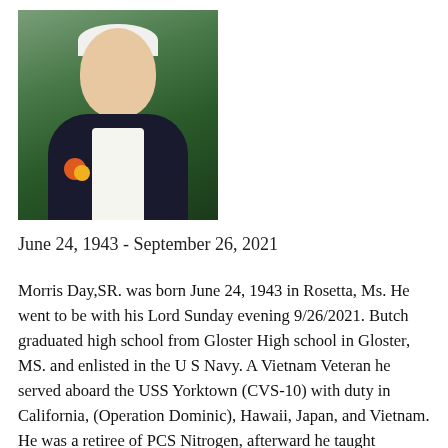[Figure (photo): Portrait photo of an elderly man with white hair, wearing a dark suit jacket and white shirt with a corsage, smiling outdoors with trees in the background.]
June 24, 1943 - September 26, 2021
Morris Day,SR. was born June 24, 1943 in Rosetta, Ms. He went to be with his Lord Sunday evening 9/26/2021. Butch graduated high school from Gloster High school in Gloster, MS. and enlisted in the U S Navy. A Vietnam Veteran he served aboard the USS Yorktown (CVS-10) with duty in California, (Operation Dominic), Hawaii, Japan, and Vietnam. He was a retiree of PCS Nitrogen, afterward he taught electrical at ABC Technical School. He loved LSU